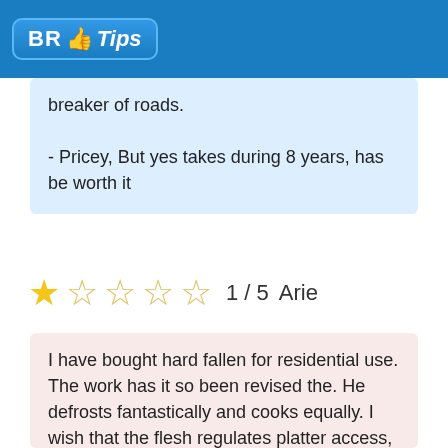BR Tips
breaker of roads.
- Pricey, But yes takes during 8 years, has be worth it
★☆☆☆☆  1 / 5  Arie
I have bought hard fallen for residential use. The work has it so been revised the. He defrosts fantastically and cooks equally. I wish that the flesh regulates platter access, but can live with that. Taking only three stars because of my worries that can he any one be so durable while it